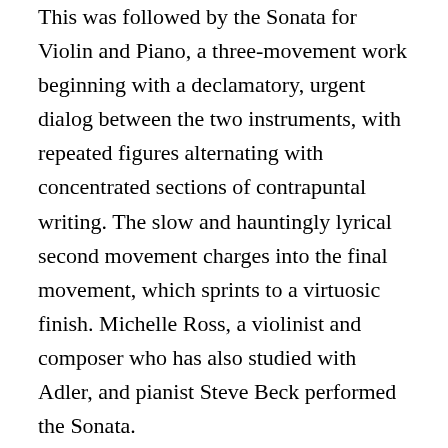This was followed by the Sonata for Violin and Piano, a three-movement work beginning with a declamatory, urgent dialog between the two instruments, with repeated figures alternating with concentrated sections of contrapuntal writing. The slow and hauntingly lyrical second movement charges into the final movement, which sprints to a virtuosic finish. Michelle Ross, a violinist and composer who has also studied with Adler, and pianist Steve Beck performed the Sonata.
Adler’s String Trio, subtitled “Five Snapshots,” ended the first half of the concert. Five movements alternate between robust extroversion and fragile introversion, culminating in an insistent and harmonically striking last movement. The Adagio (the fourth movement), with its poignant and intense unisons that reappear over its course, was communicated with particular expressiveness by violinist and